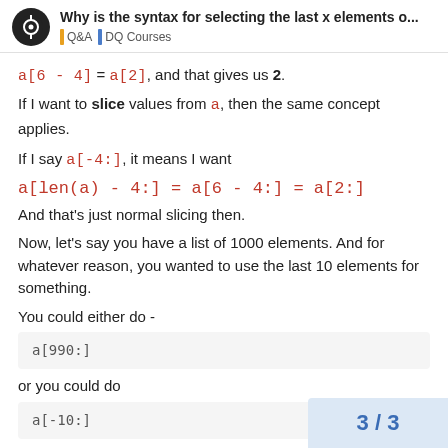Why is the syntax for selecting the last x elements o... | Q&A | DQ Courses
a[6 - 4] = a[2], and that gives us 2.
If I want to slice values from a, then the same concept applies.
If I say a[-4:], it means I want
a[len(a) - 4:] = a[6 - 4:] = a[2:]
And that's just normal slicing then.
Now, let's say you have a list of 1000 elements. And for whatever reason, you wanted to use the last 10 elements for something.
You could either do -
a[990:]
or you could do
a[-10:]
3 / 3